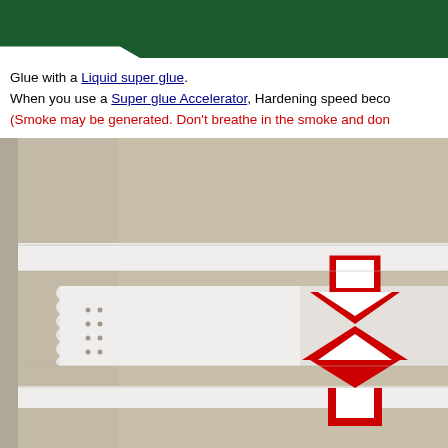[Figure (other): Dark green header bar with angled cut at bottom left]
Glue with a Liquid super glue.
When you use a Super glue Accelerator, Hardening speed beco...
(Smoke may be generated. Don't breathe in the smoke and don...
[Figure (photo): Photo of white plastic strips being glued together on a cardboard surface, with red arrows (one pointing down, one pointing up) indicating the direction to press the pieces together.]